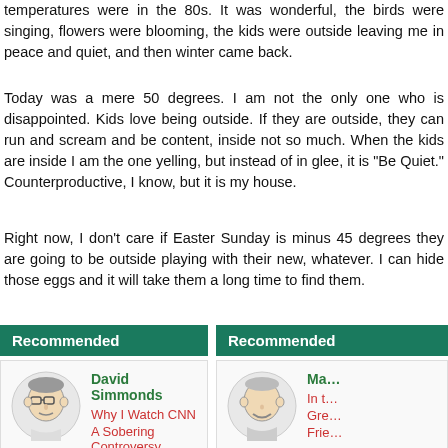temperatures were in the 80s. It was wonderful, the birds were singing, flowers were blooming, the kids were outside leaving me in peace and quiet, and then winter came back.
Today was a mere 50 degrees. I am not the only one who is disappointed. Kids love being outside. If they are outside, they can run and scream and be content, inside not so much. When the kids are inside I am the one yelling, but instead of in glee, it is "Be Quiet." Counterproductive, I know, but it is my house.
Right now, I don't care if Easter Sunday is minus 45 degrees they are going to be outside playing with their new, whatever. I can hide those eggs and it will take them a long time to find them.
Recommended
[Figure (illustration): Cartoon caricature of David Simmonds, a man with glasses]
David Simmonds
Why I Watch CNN
A Sobering Controversy
A Thankless Job
Recommended
[Figure (illustration): Cartoon caricature of a smiling man]
Ma...
In t...
Gre...
Frie...
[Figure (illustration): Cartoon caricature of Sjef Frenken, a stick figure person with glasses]
Sjef Frenken
Cogito
[Figure (illustration): Cartoon caricature of a man]
Bo...
Pa...